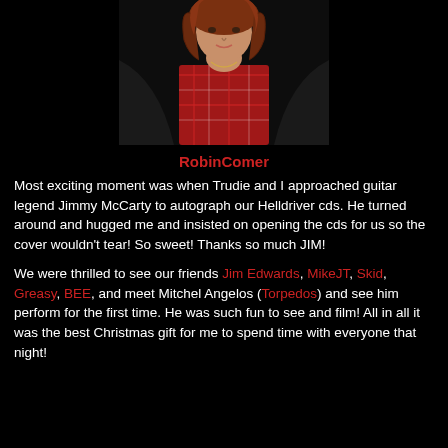[Figure (photo): Photo of a woman with curly reddish-brown hair wearing a plaid scarf and black jacket, upper body shot on black background]
RobinComer
Most exciting moment was when Trudie and I approached guitar legend Jimmy McCarty to autograph our Helldriver cds. He turned around and hugged me and insisted on opening the cds for us so the cover wouldn't tear! So sweet! Thanks so much JIM!
We were thrilled to see our friends Jim Edwards, MikeJT, Skid, Greasy, BEE, and meet Mitchel Angelos (Torpedos) and see him perform for the first time. He was such fun to see and film! All in all it was the best Christmas gift for me to spend time with everyone that night!